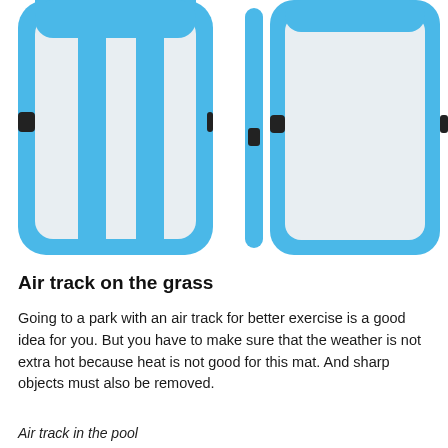[Figure (photo): Product photos of blue and white inflatable air track mats shown from top and side views. Left image shows top-down view of mat with blue border and white surface with two blue stripes. Middle image shows thin side/edge profile view of the mat. Right image shows another side-angled top view of the same mat.]
Air track on the grass
Going to a park with an air track for better exercise is a good idea for you. But you have to make sure that the weather is not extra hot because heat is not good for this mat. And sharp objects must also be removed.
Air track in the pool